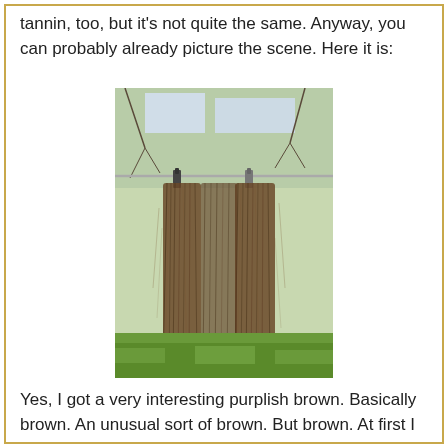tannin, too, but it's not quite the same. Anyway, you can probably already picture the scene. Here it is:
[Figure (photo): Bundles of dried plant fibers or roots hanging from a clothesline with clothespins, shown against an outdoor background with green grass and bare trees.]
Yes, I got a very interesting purplish brown. Basically brown. An unusual sort of brown. But brown. At first I was disappointed and felt very bad